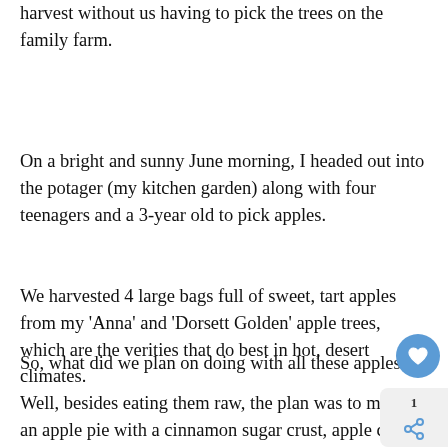harvest without us having to pick the trees on the family farm.
On a bright and sunny June morning, I headed out into the potager (my kitchen garden) along with four teenagers and a 3-year old to pick apples.
We harvested 4 large bags full of sweet, tart apples from my ‘Anna’ and ‘Dorsett Golden’ apple trees, which are the verities that do best in hot, desert climates.
So, what did we plan on doing with all these apples?
Well, besides eating them raw, the plan was to make an apple pie with a cinnamon sugar crust, apple chi and applesauce.